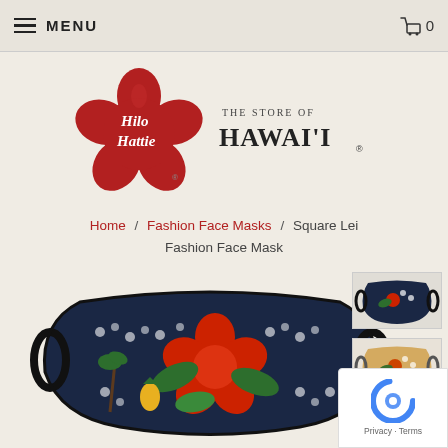MENU   🛒 0
[Figure (logo): Hilo Hattie - The Store of Hawai'i logo: red hibiscus flower with cursive text 'Hilo Hattie' and serif text 'THE STORE OF HAWAI'I']
Home / Fashion Face Masks / Square Lei Fashion Face Mask
[Figure (photo): Main product photo: Square Lei Fashion Face Mask - navy blue fabric face mask with large red hibiscus flowers, white floral lei pattern, green leaves, and pineapple motifs on dark blue background, with black elastic ear loops]
[Figure (photo): Thumbnail 1: Side view of the Square Lei Fashion Face Mask showing floral pattern on dark navy background with elastic ear loop]
[Figure (photo): Thumbnail 2: Another view of the Square Lei Fashion Face Mask showing floral pattern on lighter background with elastic ear loop]